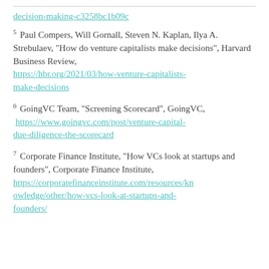decision-making-c3258bc1b09c
5 Paul Compers, Will Gornall, Steven N. Kaplan, Ilya A. Strebulaev, "How do venture capitalists make decisions", Harvard Business Review, https://hbr.org/2021/03/how-venture-capitalists-make-decisions
6 GoingVC Team, "Screening Scorecard", GoingVC, https://www.goingvc.com/post/venture-capital-due-diligence-the-scorecard
7 Corporate Finance Institute, "How VCs look at startups and founders", Corporate Finance Institute, https://corporatefinanceinstitute.com/resources/knowledge/other/how-vcs-look-at-startups-and-founders/